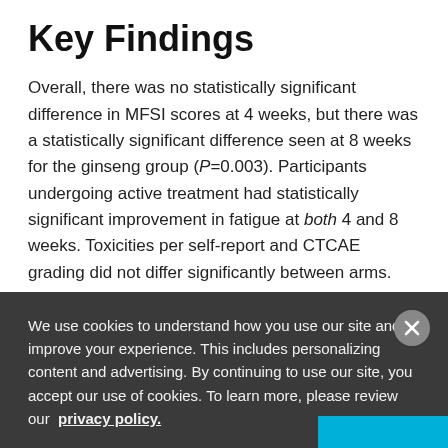Key Findings
Overall, there was no statistically significant difference in MFSI scores at 4 weeks, but there was a statistically significant difference seen at 8 weeks for the ginseng group (P=0.003). Participants undergoing active treatment had statistically significant improvement in fatigue at both 4 and 8 weeks. Toxicities per self-report and CTCAE grading did not differ significantly between arms.
Practice Implications
We use cookies to understand how you use our site and to improve your experience. This includes personalizing content and advertising. By continuing to use our site, you accept our use of cookies. To learn more, please review our privacy policy.